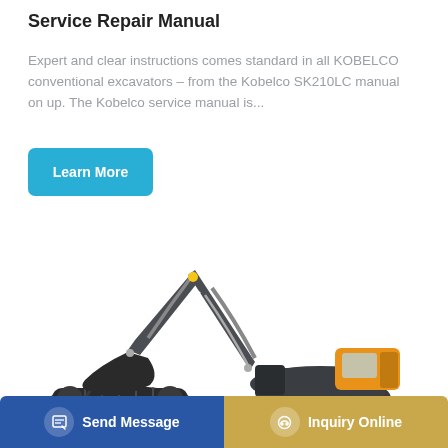Service Repair Manual
Expert and clear instructions comes standard in all KOBELCO conventional excavators – from the Kobelco SK210LC manual on up. The Kobelco service manual is...
[Figure (other): Blue rounded rectangle button labeled 'Learn More']
[Figure (photo): Hyundai yellow and dark grey tracked excavator on white background, arm extended with bucket lowered]
[Figure (other): Bottom bar with two buttons: blue 'Send Message' button on left with document/pencil icon, and tan/gold 'Inquiry Online' button on right with headset icon]